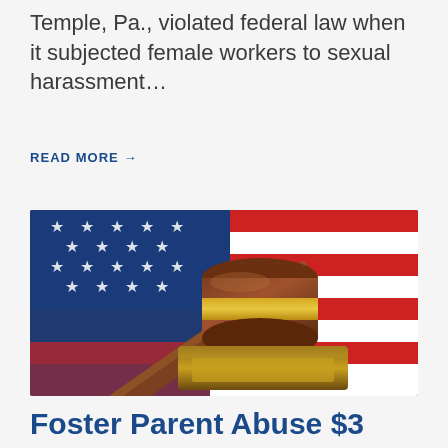Temple, Pa., violated federal law when it subjected female workers to sexual harassment…
READ MORE →
[Figure (photo): A wooden judge's gavel resting on a sound block, photographed against a blurred American flag background with red, white and blue colors.]
Foster Parent Abuse $3